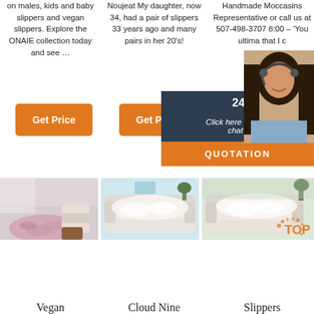on males, kids and baby slippers and vegan slippers. Explore the ONAIE collection today and see …
Noujeat My daughter, now 34, had a pair of slippers 33 years ago and many pairs in her 20's!
Handmade Moccasins Representative or call us at 507-498-3707 8:00 – 'You ultima that I c
24/7 Online
Click here for free chat !
QUOTATION
Get Price
Get Price
G
[Figure (photo): Pink fluffy sheepskin rug on floor with chair and sofa in background]
[Figure (photo): White fluffy sheepskin throw on a cream sofa with plant in background]
[Figure (photo): White fluffy sheepskin throw on a beige sofa with plant]
Vegan
Cloud Nine
Slippers